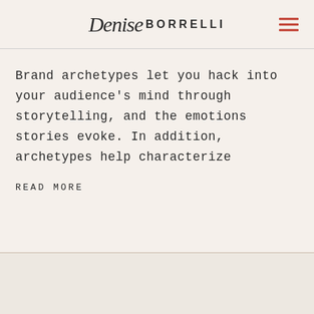Denise BORRELLI
Brand archetypes let you hack into your audience's mind through storytelling, and the emotions stories evoke. In addition, archetypes help characterize
READ MORE